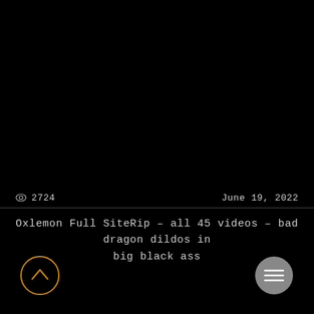👁 2724   June 19, 2022
Oxlemon Full SiteRip – all 45 videos – bad dragon dildos in big black ass
[Figure (illustration): Circular back-to-top button with orange outline and upward chevron icon, bottom left]
[Figure (illustration): Circular menu button with grey background and three horizontal lines icon, bottom right]